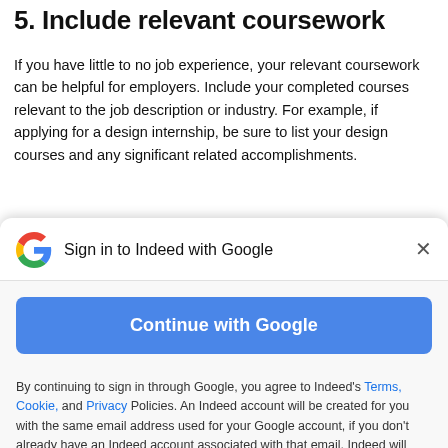5. Include relevant coursework
If you have little to no job experience, your relevant coursework can be helpful for employers. Include your completed courses relevant to the job description or industry. For example, if applying for a design internship, be sure to list your design courses and any significant related accomplishments.
[Figure (screenshot): Google Sign-in modal overlay with Google 'G' logo, title 'Sign in to Indeed with Google', close button (×), blue 'Continue with Google' button, and legal disclaimer text with links to Terms, Cookie, and Privacy policies.]